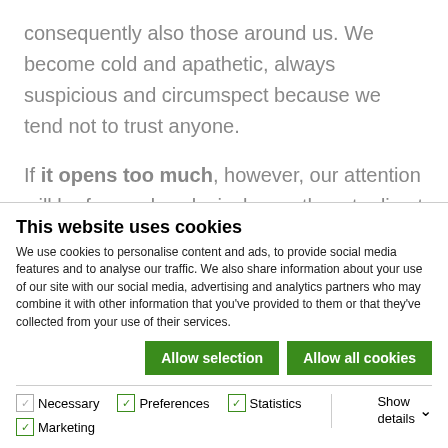consequently also those around us. We become cold and apathetic, always suspicious and circumspect because we tend not to trust anyone.
If it opens too much, however, our attention will be focused exclusively on others to divert attention from ourselves. But it will not be a
This website uses cookies
We use cookies to personalise content and ads, to provide social media features and to analyse our traffic. We also share information about your use of our site with our social media, advertising and analytics partners who may combine it with other information that you've provided to them or that they've collected from your use of their services.
Allow selection | Allow all cookies
Necessary  Preferences  Statistics  Marketing  Show details